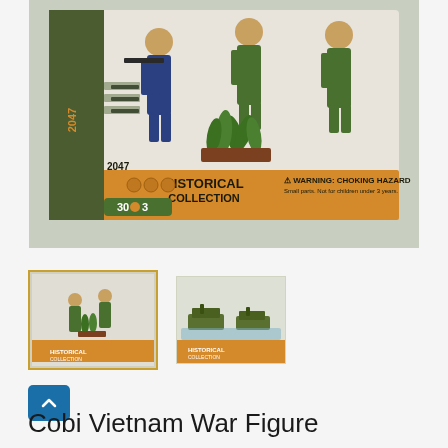[Figure (photo): Product box of Cobi Historical Collection set #2047, showing toy soldier figures in green army uniforms with weapons and jungle foliage accessories on an orange-banded box labeled 'Historical Collection', '30 pieces, 3 figures', and 'WARNING: CHOKING HAZARD']
[Figure (photo): Thumbnail image 1 (selected, gold border): small view of the same Cobi Vietnam War Figure set box]
[Figure (photo): Thumbnail image 2: small view of another Cobi Historical Collection set showing tank/vehicle figures]
Cobi Vietnam War Figure